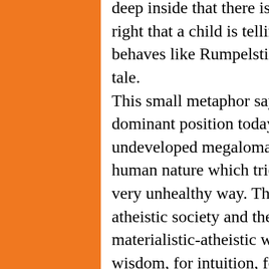deep inside that there is something wrong, that it can't be right that a child is telling them what to do. This nasty child behaves like Rumpelstiltskin, the nasty dwarf of the fairy tale. This small metaphor says much about the intellect and his dominant position today. The intellect appears today as an undeveloped megalomaniac and indeed limited part of the human nature which tries to dominate all other aspects in a very unhealthy way. This is the result of the materialistic-atheistic society and the according science. In the materialistic-atheistic world view there is no real place for wisdom, for intuition, for feelings, for a holistic understanding, for higher aspects of the human nature, for the invisible world and also not for the knowledge of our forefathers. When this world view was established, a cut was made with our history, with culture, belief, with our values, with our origins and all the knowledge from our ancestors. These so-called scientists and representatives of materialism proclaimed that they were more